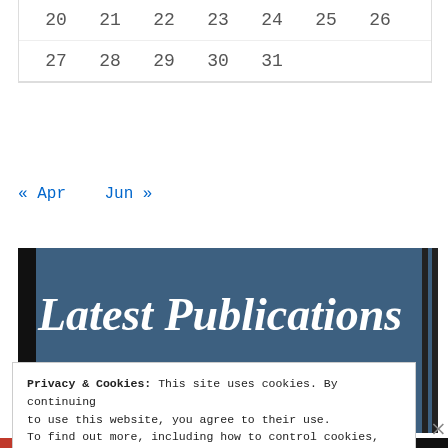| 20 | 21 | 22 | 23 | 24 | 25 | 26 |
| 27 | 28 | 29 | 30 | 31 |  |  |
« Apr    Jun »
[Figure (illustration): Latest Publications banner image with dark blue background, showing italic bold white text 'Latest Publications' and centered bold white text 'Featuring']
Privacy & Cookies: This site uses cookies. By continuing to use this website, you agree to their use.
To find out more, including how to control cookies, see here: Cookie Policy
Close and accept